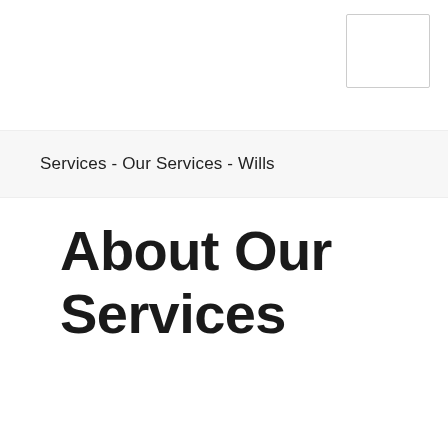[Figure (logo): Empty logo/image placeholder box in top right corner]
Services - Our Services - Wills
About Our Services